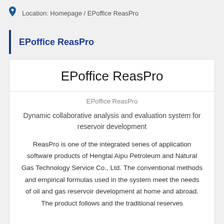Location: Homepage / EPoffice ReasPro
EPoffice ReasPro
EPoffice ReasPro
EPoffice ReasPro
Dynamic collaborative analysis and evaluation system for reservoir development
ReasPro is one of the integrated series of application software products of Hengtai Aipu Petroleum and Natural Gas Technology Service Co., Ltd. The conventional methods and empirical formulas used in the system meet the needs of oil and gas reservoir development at home and abroad. The product follows and the traditional reserves...